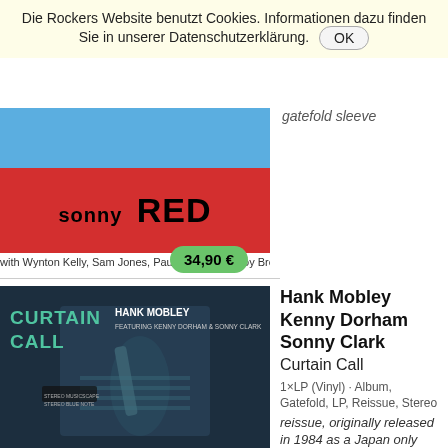Die Rockers Website benutzt Cookies. Informationen dazu finden Sie in unserer Datenschutzerklärung. OK
[Figure (photo): Sonny Red album cover with blue and red strips, text 'sonny RED']
gatefold sleeve
with Wynton Kelly, Sam Jones, Paul Chambers, Roy Brooks, Jimmy Cobb
34,90 €
[Figure (photo): Hank Mobley Curtain Call album cover - musician playing saxophone, dark blue/teal tones]
Hank Mobley Kenny Dorham Sonny Clark
Curtain Call
1×LP (Vinyl) · Album, Gatefold, LP, Reissue, Stereo
reissue, originally released in 1984 as a Japan only release, recorded in 1957, gatefold sleeve